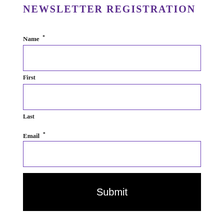NEWSLETTER REGISTRATION
Name *
First
Last
Email *
Submit